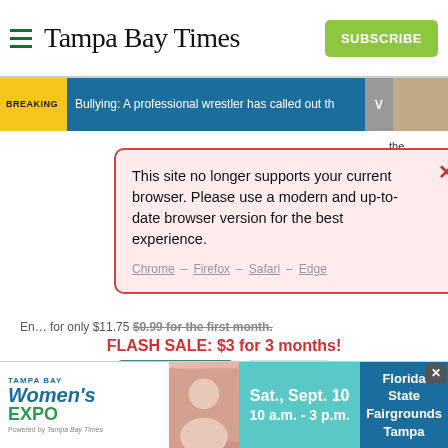[Figure (screenshot): Tampa Bay Times website header with hamburger menu, logo, and green Subscribe button]
[Figure (screenshot): Breaking news banner: bullying story about a professional wrestler]
[Figure (screenshot): Browser compatibility warning modal dialog: 'This site no longer supports your current browser. Please use a modern and up-to-date browser version for the best experience.' with links to Chrome, Firefox, Safari, Edge]
En... for only $11.75 $0.99 for the first month.
FLASH SALE: $3 for 3 months!
[Figure (screenshot): Subscribe and Log In buttons]
Interested in print delivery? Subscribe here →
[Figure (screenshot): Tampa Bay Women's Expo advertisement banner: Sat., Sept. 10, 10 a.m. - 3 p.m., Florida State Fairgrounds Tampa]